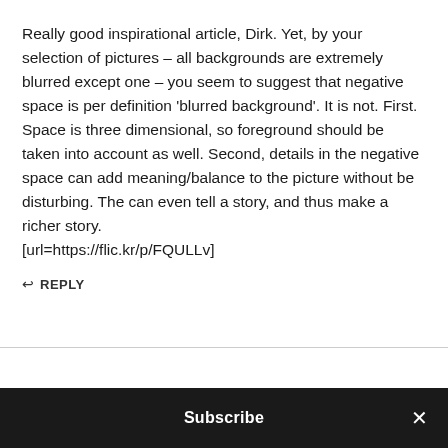Really good inspirational article, Dirk. Yet, by your selection of pictures – all backgrounds are extremely blurred except one – you seem to suggest that negative space is per definition 'blurred background'. It is not. First. Space is three dimensional, so foreground should be taken into account as well. Second, details in the negative space can add meaning/balance to the picture without be disturbing. The can even tell a story, and thus make a richer story.
[url=https://flic.kr/p/FQULLv]
↩ REPLY
Subscribe ×